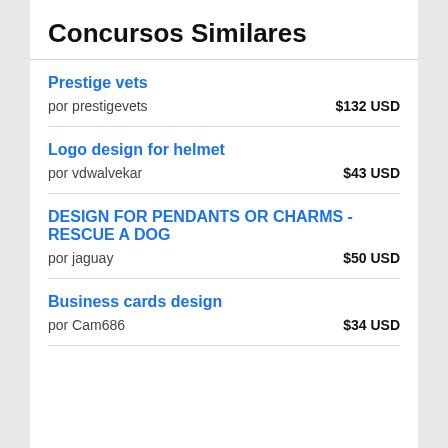Concursos Similares
Prestige vets
por prestigevets
$132 USD
Logo design for helmet
por vdwalvekar
$43 USD
DESIGN FOR PENDANTS OR CHARMS - RESCUE A DOG
por jaguay
$50 USD
Business cards design
por Cam686
$34 USD